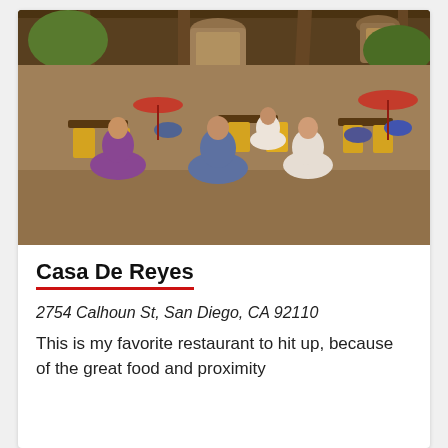[Figure (photo): Outdoor/covered patio dining area of Casa De Reyes restaurant, showing diners seated at yellow chairs around tables, with hanging metal lanterns, wooden beam ceiling structure, and a waiter in a white shirt. Restaurant has red umbrellas in background and festive decor.]
Casa De Reyes
2754 Calhoun St, San Diego, CA 92110
This is my favorite restaurant to hit up, because of the great food and proximity